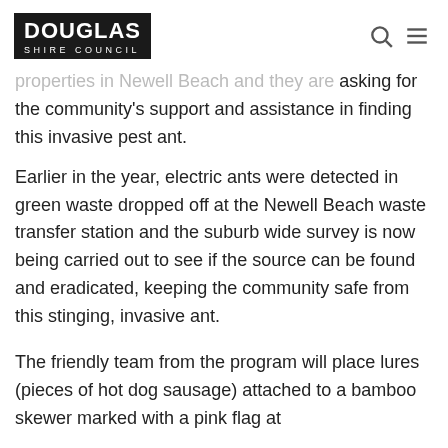Douglas Shire Council
properties in Newell Beach and they are asking for the community's support and assistance in finding this invasive pest ant.
Earlier in the year, electric ants were detected in green waste dropped off at the Newell Beach waste transfer station and the suburb wide survey is now being carried out to see if the source can be found and eradicated, keeping the community safe from this stinging, invasive ant.
The friendly team from the program will place lures (pieces of hot dog sausage) attached to a bamboo skewer marked with a pink flag at